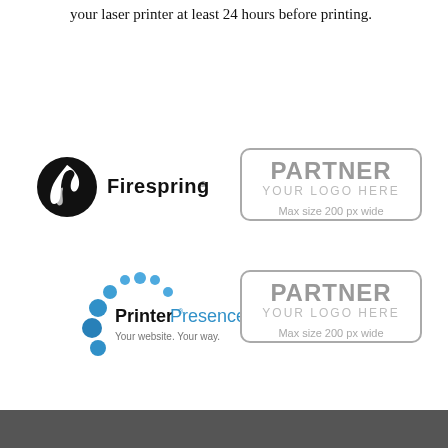your laser printer at least 24 hours before printing.
[Figure (logo): Firespring logo — black circle with white swirl and 'Firespring' wordmark in black sans-serif]
[Figure (illustration): Partner placeholder box with 'PARTNER / YOUR LOGO HERE / Max size 200 px wide' in gray, rounded rectangle border]
[Figure (logo): PrinterPresence logo — blue dots/spheres arranged in arc on left, 'PrinterPresence' wordmark in black/blue, tagline 'Your website. Your way.']
[Figure (illustration): Partner placeholder box with 'PARTNER / YOUR LOGO HERE / Max size 200 px wide' in gray, rounded rectangle border]